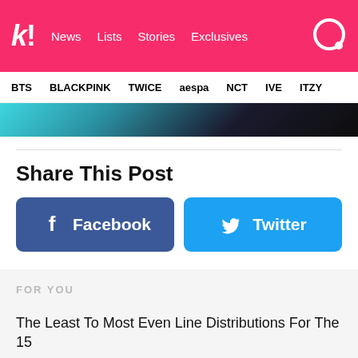k! News Lists Stories Exclusives
BTS BLACKPINK TWICE aespa NCT IVE ITZY
[Figure (photo): Partial image visible at top of page, dark background with partial face/figure in teal and brown tones]
Share This Post
Facebook
Twitter
FOR YOU
The Least To Most Even Line Distributions For The 15